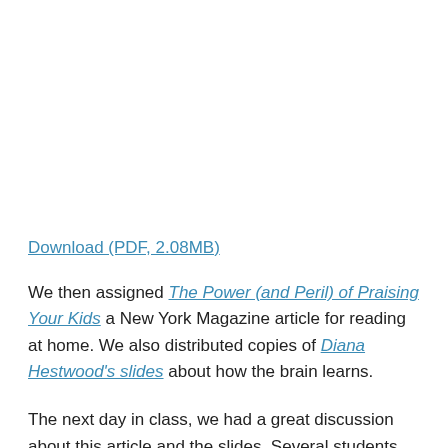Download (PDF, 2.08MB)
We then assigned The Power (and Peril) of Praising Your Kids a New York Magazine article for reading at home. We also distributed copies of Diana Hestwood's slides about how the brain learns.
The next day in class, we had a great discussion about this article and the slides. Several students really identified with